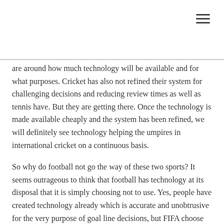are around how much technology will be available and for what purposes. Cricket has also not refined their system for challenging decisions and reducing review times as well as tennis have. But they are getting there. Once the technology is made available cheaply and the system has been refined, we will definitely see technology helping the umpires in international cricket on a continuous basis.
So why do football not go the way of these two sports? It seems outrageous to think that football has technology at its disposal that it is simply choosing not to use. Yes, people have created technology already which is accurate and unobtrusive for the very purpose of goal line decisions, but FIFA choose not to endorse it and include it in football. Slightly strange that the most popular